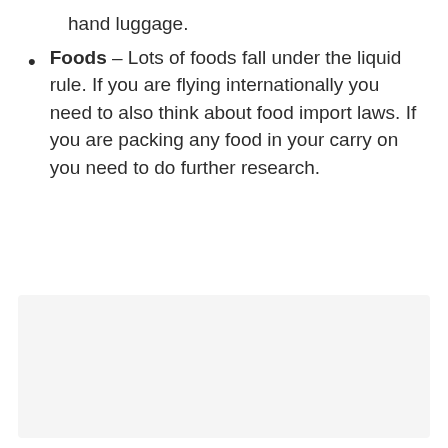hand luggage.
Foods – Lots of foods fall under the liquid rule. If you are flying internationally you need to also think about food import laws. If you are packing any food in your carry on you need to do further research.
[Figure (photo): Image placeholder area with light gray background]